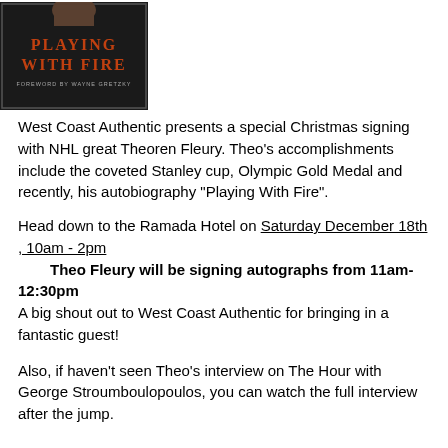[Figure (illustration): Book cover of 'Playing With Fire' with foreword by Wayne Gretzky, dark background with orange/red text]
West Coast Authentic presents a special Christmas signing with NHL great Theoren Fleury. Theo's accomplishments include the coveted Stanley cup, Olympic Gold Medal and recently, his autobiography "Playing With Fire".
Head down to the Ramada Hotel on Saturday December 18th , 10am - 2pm
	Theo Fleury will be signing autographs from 11am-12:30pm
A big shout out to West Coast Authentic for bringing in a fantastic guest!
Also, if haven't seen Theo's interview on The Hour with George Stroumboulopoulos, you can watch the full interview after the jump.